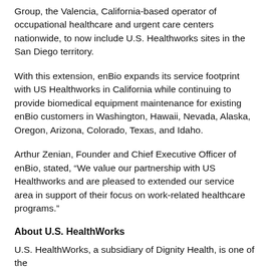Group, the Valencia, California-based operator of occupational healthcare and urgent care centers nationwide, to now include U.S. Healthworks sites in the San Diego territory.
With this extension, enBio expands its service footprint with US Healthworks in California while continuing to provide biomedical equipment maintenance for existing enBio customers in Washington, Hawaii, Nevada, Alaska, Oregon, Arizona, Colorado, Texas, and Idaho.
Arthur Zenian, Founder and Chief Executive Officer of enBio, stated, “We value our partnership with US Healthworks and are pleased to extended our service area in support of their focus on work-related healthcare programs.”
About U.S. HealthWorks
U.S. HealthWorks, a subsidiary of Dignity Health, is one of the